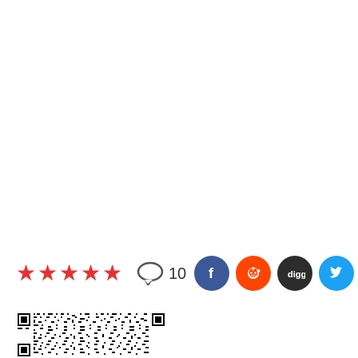[Figure (infographic): Five red stars rating, speech bubble comment icon with count 10, and four social media icons: Facebook (blue), Reddit (orange), Digg (dark/black), Twitter (light blue)]
[Figure (other): QR code black and white square barcode]